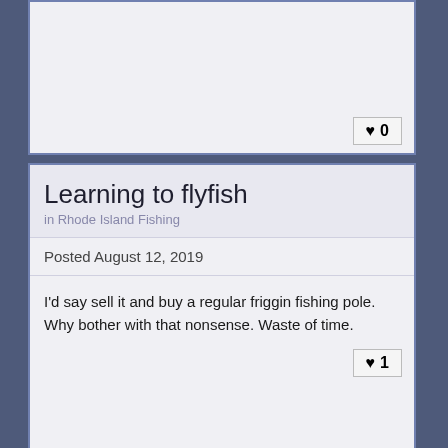♥ 0
Learning to flyfish
in Rhode Island Fishing
Posted August 12, 2019
I'd say sell it and buy a regular friggin fishing pole. Why bother with that nonsense. Waste of time.
♥ 1
RI reports
in Rhode Island Fishing
CLOSE
Posted May 18, 2019